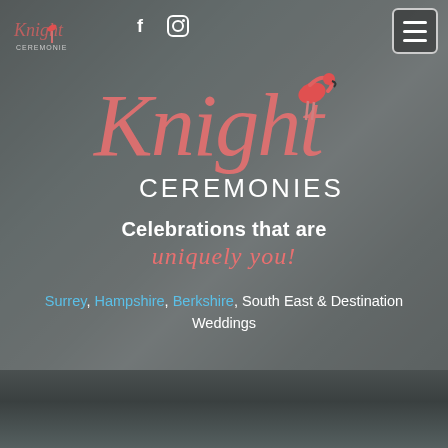[Figure (screenshot): Knight Ceremonies wedding officiant website screenshot. Top navigation bar with small Knight Ceremonies logo on left, Facebook and Instagram icons in center-left, hamburger menu button on right. Large Knight Ceremonies script logo centered in hero area over dark-filtered wedding photo background. Tagline 'Celebrations that are uniquely you!' below logo. Location text listing Surrey, Hampshire, Berkshire, South East & Destination Weddings. Bottom strip shows another wedding photo.]
Knight Ceremonies
Celebrations that are uniquely you!
Surrey, Hampshire, Berkshire, South East & Destination Weddings